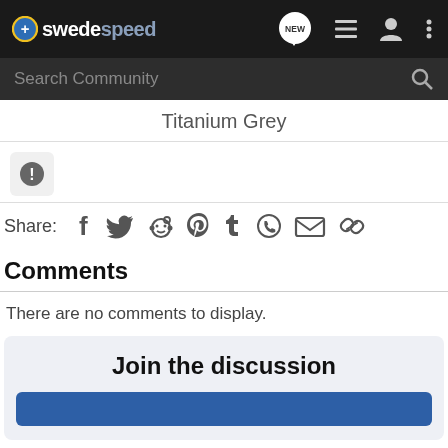swedespeed — navigation bar with logo, NEW chat icon, list icon, user icon, menu icon
Search Community
Titanium Grey
[Figure (infographic): Report/alert button — dark circle with exclamation mark on light grey background]
Share: (Facebook, Twitter, Reddit, Pinterest, Tumblr, WhatsApp, Email, Link icons)
Comments
There are no comments to display.
Join the discussion